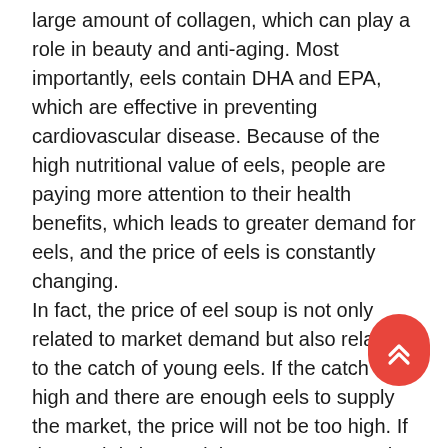large amount of collagen, which can play a role in beauty and anti-aging. Most importantly, eels contain DHA and EPA, which are effective in preventing cardiovascular disease. Because of the high nutritional value of eels, people are paying more attention to their health benefits, which leads to greater demand for eels, and the price of eels is constantly changing.
In fact, the price of eel soup is not only related to market demand but also related to the catch of young eels. If the catch is high and there are enough eels to supply the market, the price will not be too high. If the catch is low and there are not enough eels, the price will naturally go up. Last year's catch was good, and I wonder if eel prices will fall again this year after such a big increase. Eels pro is a professional unagi eel farming and processing manufacturers in China. Looking for the eel soup, send an